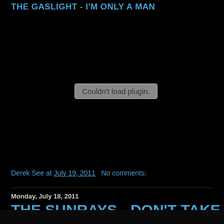THE GASLIGHT - I'M ONLY A MAN
[Figure (other): Black area with a plugin error message box reading 'Couldn't load plugin.']
Derek See at July 19, 2011   No comments:
Monday, July 18, 2011
THE SUNRAYS - DON'T TAKE YOURSELF TOO SERIOUSLY
[Figure (photo): Partial image at bottom of page, dark background with faint warm-toned object visible]